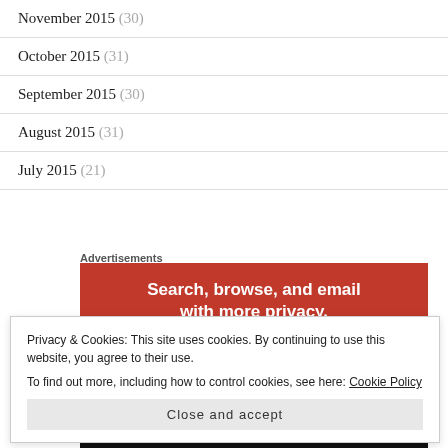November 2015 (30)
October 2015 (31)
September 2015 (30)
August 2015 (31)
July 2015 (21)
Advertisements
[Figure (infographic): DuckDuckGo advertisement banner: orange background with white bold text 'Search, browse, and email with more privacy.' and 'All in One Free App' on white band, with DuckDuckGo. text on black bar at bottom.]
Privacy & Cookies: This site uses cookies. By continuing to use this website, you agree to their use.
To find out more, including how to control cookies, see here: Cookie Policy
Close and accept